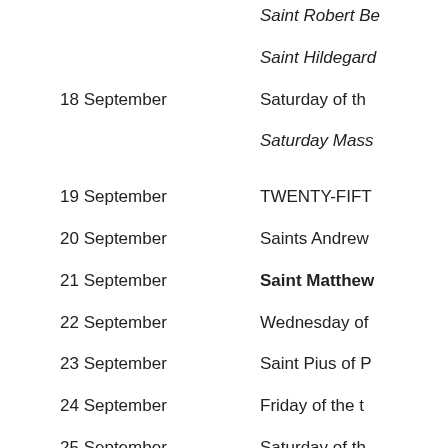Saint Robert Be...
Saint Hildegard...
18 September — Saturday of th...
Saturday Mass...
19 September — TWENTY-FIFT...
20 September — Saints Andrew...
21 September — Saint Matthew...
22 September — Wednesday of...
23 September — Saint Pius of P...
24 September — Friday of the t...
25 September — Saturday of th...
Saturday Mass...